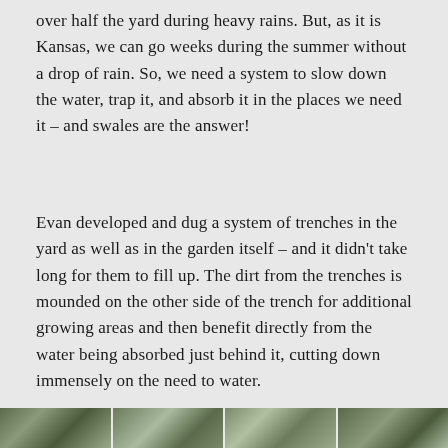over half the yard during heavy rains. But, as it is Kansas, we can go weeks during the summer without a drop of rain. So, we need a system to slow down the water, trap it, and absorb it in the places we need it – and swales are the answer!
Evan developed and dug a system of trenches in the yard as well as in the garden itself – and it didn't take long for them to fill up. The dirt from the trenches is mounded on the other side of the trench for additional growing areas and then benefit directly from the water being absorbed just behind it, cutting down immensely on the need to water.
[Figure (photo): A strip of outdoor/garden photos at the bottom of the page]